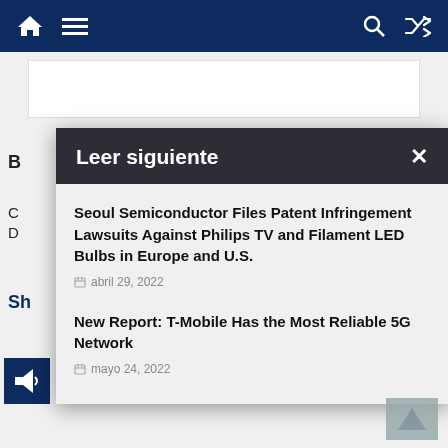Nav bar with home icon, menu icon, search icon, shuffle icon
[Figure (screenshot): White card/banner area below navigation bar]
B
C
D
Sh
[Figure (other): Dark blue speaker/volume icon]
Leer siguiente
Seoul Semiconductor Files Patent Infringement Lawsuits Against Philips TV and Filament LED Bulbs in Europe and U.S.
abril 29, 2022
New Report: T-Mobile Has the Most Reliable 5G Network
mayo 24, 2022